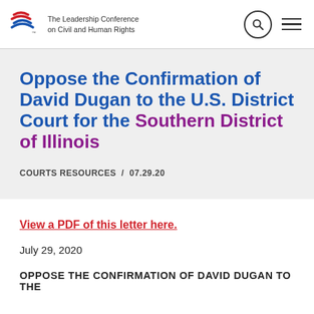The Leadership Conference on Civil and Human Rights
Oppose the Confirmation of David Dugan to the U.S. District Court for the Southern District of Illinois
COURTS RESOURCES / 07.29.20
View a PDF of this letter here.
July 29, 2020
OPPOSE THE CONFIRMATION OF DAVID DUGAN TO THE